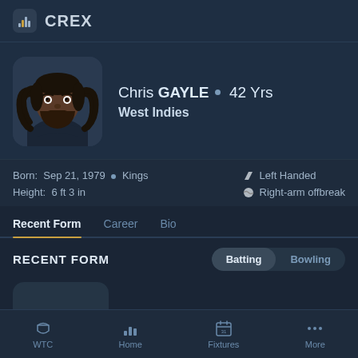CREX
[Figure (illustration): Cartoon illustration of Chris Gayle with long dreadlocks, beard, and dark clothing]
Chris GAYLE • 42 Yrs
West Indies
Born: Sep 21, 1979 • Kings
Height: 6 ft 3 in
Left Handed
Right-arm offbreak
Recent Form   Career   Bio
RECENT FORM
Batting   Bowling
WTC   Home   Fixtures   More